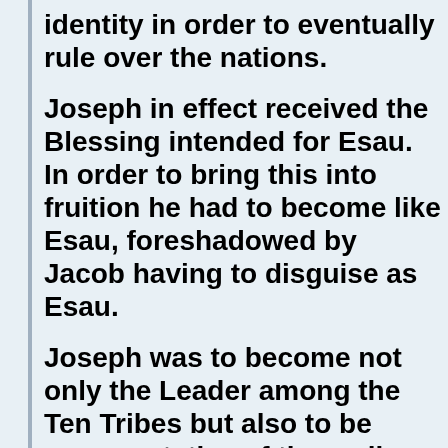identity in order to eventually rule over the nations.
Joseph in effect received the Blessing intended for Esau. In order to bring this into fruition he had to become like Esau, foreshadowed by Jacob having to disguise as Esau.
Joseph was to become not only the Leader among the Ten Tribes but also to be representative of them all. The Ten Tribes were to be Exiled by the Assyrians and to lose consciousness of their Ancestral Identity. The Assyrians when they exiled the Ten Tribes used other peoples as agents to carry out their aims. Amos tells us that the Assyrians used R...